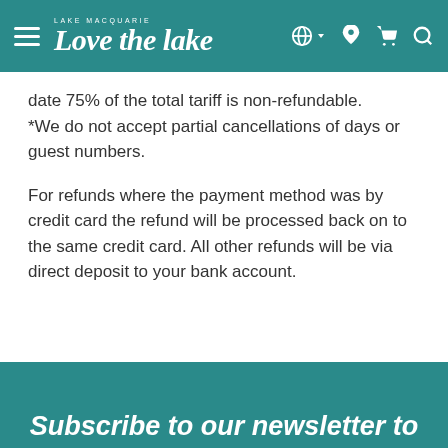Lake Macquarie Love the Lake
date 75% of the total tariff is non-refundable. *We do not accept partial cancellations of days or guest numbers.
For refunds where the payment method was by credit card the refund will be processed back on to the same credit card. All other refunds will be via direct deposit to your bank account.
Subscribe to our newsletter to